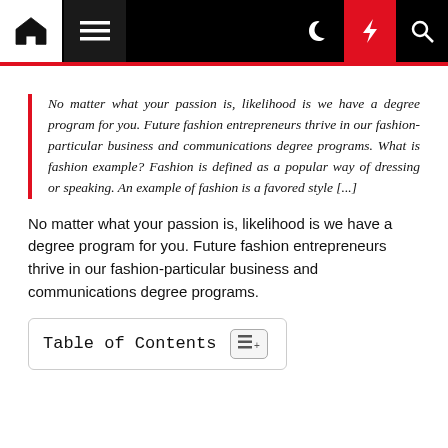Navigation bar with home, menu, dark mode, lightning, and search icons
No matter what your passion is, likelihood is we have a degree program for you. Future fashion entrepreneurs thrive in our fashion-particular business and communications degree programs. What is fashion example? Fashion is defined as a popular way of dressing or speaking. An example of fashion is a favored style [...]
No matter what your passion is, likelihood is we have a degree program for you. Future fashion entrepreneurs thrive in our fashion-particular business and communications degree programs.
Table of Contents